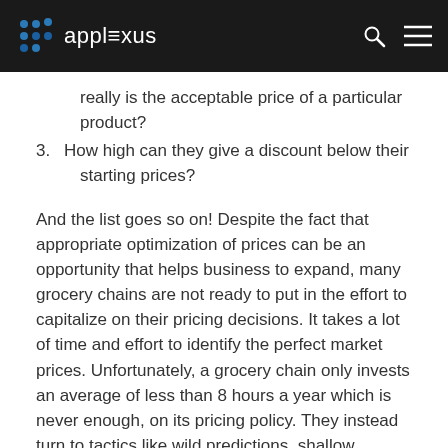applexus
really is the acceptable price of a particular product?
3. How high can they give a discount below their starting prices?
And the list goes so on! Despite the fact that appropriate optimization of prices can be an opportunity that helps business to expand, many grocery chains are not ready to put in the effort to capitalize on their pricing decisions. It takes a lot of time and effort to identify the perfect market prices. Unfortunately, a grocery chain only invests an average of less than 8 hours a year which is never enough, on its pricing policy. They instead turn to tactics like wild predictions, shallow discounts, and value-less pricing.
The fact is that most grocery pricing solutions don't really drive optimum chain-wide performance because the